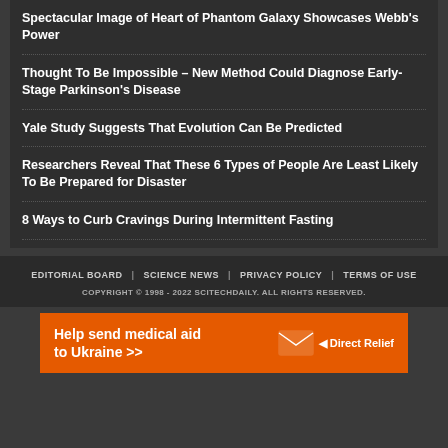Spectacular Image of Heart of Phantom Galaxy Showcases Webb's Power
Thought To Be Impossible – New Method Could Diagnose Early-Stage Parkinson's Disease
Yale Study Suggests That Evolution Can Be Predicted
Researchers Reveal That These 6 Types of People Are Least Likely To Be Prepared for Disaster
8 Ways to Curb Cravings During Intermittent Fasting
EDITORIAL BOARD | SCIENCE NEWS | PRIVACY POLICY | TERMS OF USE
COPYRIGHT © 1998 - 2022 SCITECHDAILY. ALL RIGHTS RESERVED.
[Figure (infographic): Orange advertisement banner: 'Help send medical aid to Ukraine >>' with Direct Relief logo and envelope icon on the right]